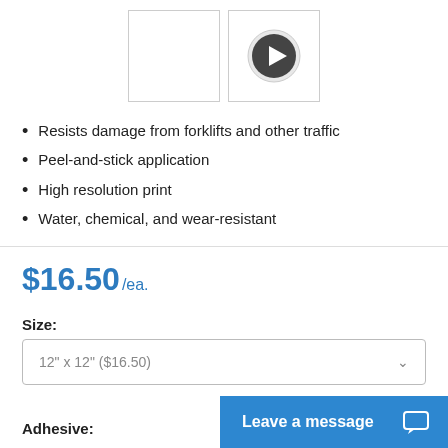[Figure (screenshot): Two thumbnail boxes side by side; the right one shows a circular play button (dark gray with white triangle) on a light gray background]
Resists damage from forklifts and other traffic
Peel-and-stick application
High resolution print
Water, chemical, and wear-resistant
$16.50 /ea.
Size:
12" x 12" ($16.50)
Adhesive:
Leave a message